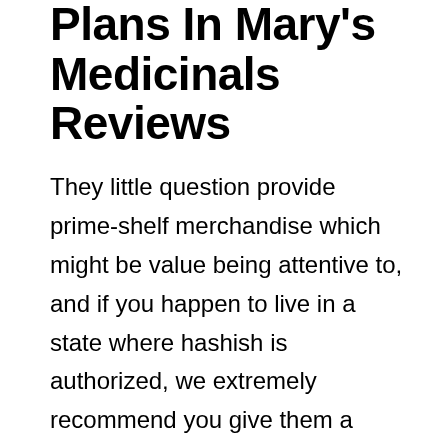Plans In Mary's Medicinals Reviews
They little question provide prime-shelf merchandise which might be value being attentive to, and if you happen to live in a state where hashish is authorized, we extremely recommend you give them a attempt. And of course, if you happen to do not live in a legalized state, you'll be able to shop the brand's sister firm, Mary's Nutritionals. Due to its THC content, this